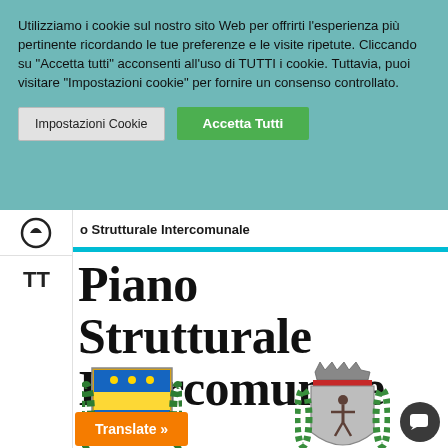Utilizziamo i cookie sul nostro sito Web per offrirti l'esperienza più pertinente ricordando le tue preferenze e le visite ripetute. Cliccando su "Accetta tutti" acconsenti all'uso di TUTTI i cookie. Tuttavia, puoi visitare "Impostazioni cookie" per fornire un consenso controllato.
Impostazioni Cookie | Accetta Tutti
o Strutturale Intercomunale
Piano Strutturale Intercomunale
[Figure (illustration): Two municipal coat of arms / heraldic emblems side by side]
Translate »